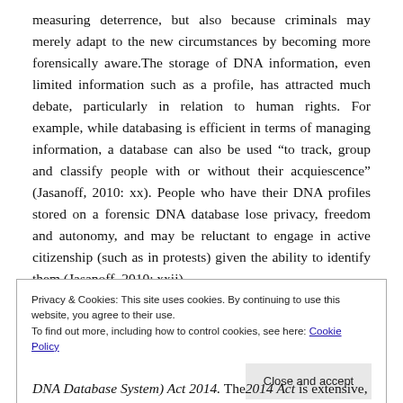measuring deterrence, but also because criminals may merely adapt to the new circumstances by becoming more forensically aware.The storage of DNA information, even limited information such as a profile, has attracted much debate, particularly in relation to human rights. For example, while databasing is efficient in terms of managing information, a database can also be used “to track, group and classify people with or without their acquiescence” (Jasanoff, 2010: xx). People who have their DNA profiles stored on a forensic DNA database lose privacy, freedom and autonomy, and may be reluctant to engage in active citizenship (such as in protests) given the ability to identify them (Jasanoff, 2010: xxii).
Privacy & Cookies: This site uses cookies. By continuing to use this website, you agree to their use.
To find out more, including how to control cookies, see here: Cookie Policy
[Close and accept]
DNA Database System) Act 2014. The2014 Act is extensive,